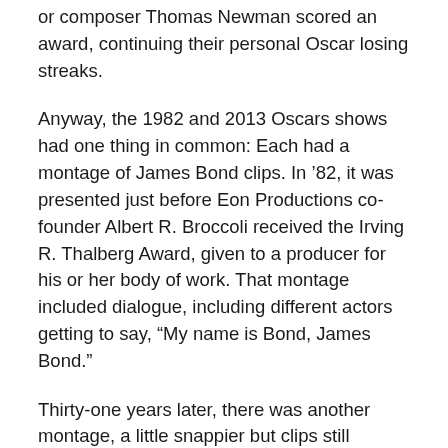or composer Thomas Newman scored an award, continuing their personal Oscar losing streaks.
Anyway, the 1982 and 2013 Oscars shows had one thing in common: Each had a montage of James Bond clips. In '82, it was presented just before Eon Productions co-founder Albert R. Broccoli received the Irving R. Thalberg Award, given to a producer for his or her body of work. That montage included dialogue, including different actors getting to say, “My name is Bond, James Bond.”
Thirty-one years later, there was another montage, a little snappier but clips still familiar to most 007 fans. The clips were accompanied by The James Bond Theme and an instrumental version of Live And Let Die.
The 1982 show had a big production, with Sheena Easton